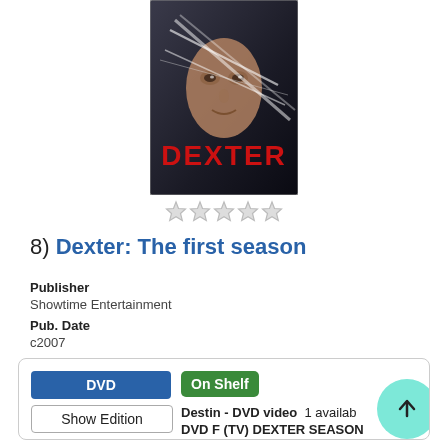[Figure (photo): Dexter TV show DVD cover image showing a man's face wrapped in plastic wrap with red DEXTER text at bottom]
[Figure (other): Five empty star rating icons in a row]
8)  Dexter: The first season
Publisher
Showtime Entertainment
Pub. Date
c2007
DVD | On Shelf | Destin - DVD video  1 available | DVD F (TV) DEXTER SEASON | Where is it? | Place Hold